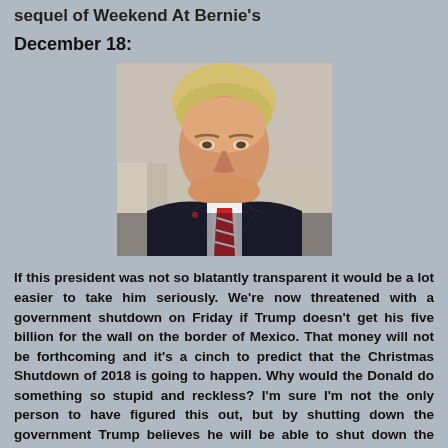sequel of Weekend At Bernie's
December 18:
[Figure (photo): Photo of a man with blond hair wearing a dark suit and red striped tie, seated, with a serious expression]
If this president was not so blatantly transparent it would be a lot easier to take him seriously. We're now threatened with a government shutdown on Friday if Trump doesn't get his five billion for the wall on the border of Mexico. That money will not be forthcoming and it's a cinch to predict that the Christmas Shutdown of 2018 is going to happen. Why would the Donald do something so stupid and reckless? I'm sure I'm not the only person to have figured this out, but by shutting down the government Trump believes he will be able to shut down the investigation that is